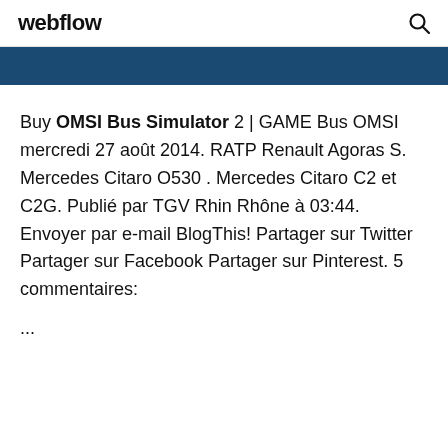webflow
Buy OMSI Bus Simulator 2 | GAME Bus OMSI mercredi 27 août 2014. RATP Renault Agoras S. Mercedes Citaro O530 . Mercedes Citaro C2 et C2G. Publié par TGV Rhin Rhône à 03:44. Envoyer par e-mail BlogThis! Partager sur Twitter Partager sur Facebook Partager sur Pinterest. 5 commentaires:
...